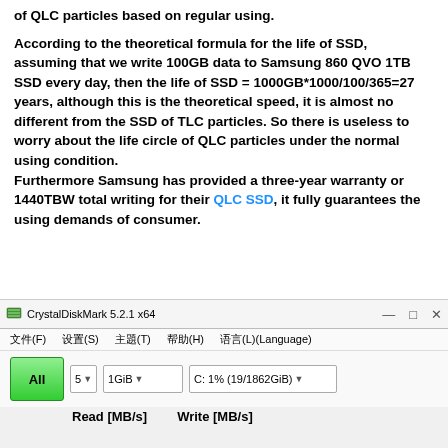of QLC particles based on regular using. According to the theoretical formula for the life of SSD, assuming that we write 100GB data to Samsung 860 QVO 1TB SSD every day, then the life of SSD = 1000GB*1000/100/365=27 years, although this is the theoretical speed, it is almost no different from the SSD of TLC particles. So there is useless to worry about the life circle of QLC particles under the normal using condition. Furthermore Samsung has provided a three-year warranty or 1440TBW total writing for their QLC SSD, it fully guarantees the using demands of consumer.
[Figure (screenshot): CrystalDiskMark 5.2.1 x64 application window showing menu bar with 文件(F), 设置(S), 主题(T), 帮助(H), 语言(L)(Language), toolbar with All button, 5 dropdown, 1GiB dropdown, C: 1% (19/1862GiB) dropdown, and Read [MB/s] Write [MB/s] labels.]